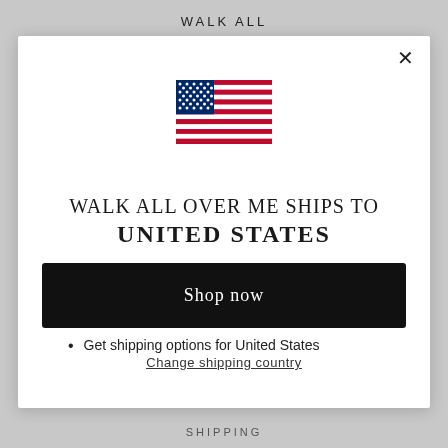WALK ALL
[Figure (illustration): US flag icon — red and white stripes with blue canton containing white stars]
WALK ALL OVER ME SHIPS TO UNITED STATES
Shop in AUD $
Get shipping options for United States
Shop now
Change shipping country
SHIPPING